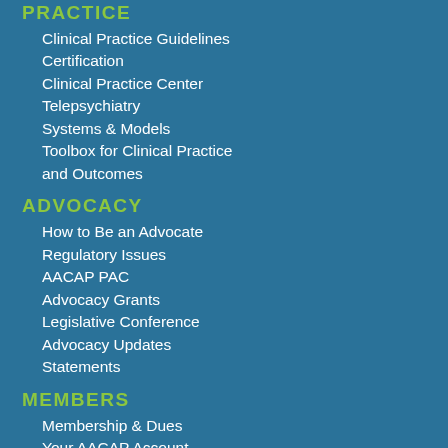PRACTICE
Clinical Practice Guidelines
Certification
Clinical Practice Center
Telepsychiatry
Systems & Models
Toolbox for Clinical Practice and Outcomes
ADVOCACY
How to Be an Advocate
Regulatory Issues
AACAP PAC
Advocacy Grants
Legislative Conference
Advocacy Updates
Statements
MEMBERS
Membership & Dues
Your AACAP Account
Member Resources
Job Source
Committees